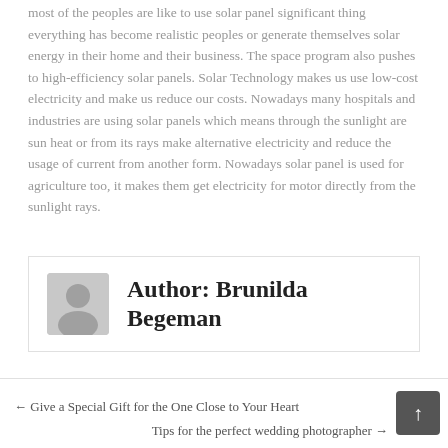most of the peoples are like to use solar panel significant thing everything has become realistic peoples or generate themselves solar energy in their home and their business. The space program also pushes to high-efficiency solar panels. Solar Technology makes us use low-cost electricity and make us reduce our costs. Nowadays many hospitals and industries are using solar panels which means through the sunlight are sun heat or from its rays make alternative electricity and reduce the usage of current from another form. Nowadays solar panel is used for agriculture too, it makes them get electricity for motor directly from the sunlight rays.
Author: Brunilda Begeman
← Give a Special Gift for the One Close to Your Heart
Tips for the perfect wedding photographer →